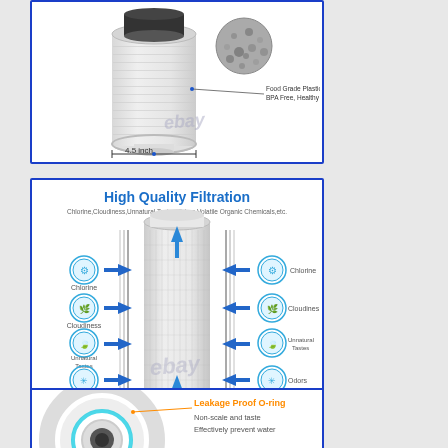[Figure (illustration): Water filter cartridge product photo showing a white cylindrical filter with black carbon top and granular texture, labeled 4.5 inch width, Food Grade Plastic Material BPA Free Healthy Environment, with eBay watermark.]
[Figure (infographic): High Quality Filtration diagram showing a water filter cartridge in center with blue arrows indicating water flow in/out, and icons for Chlorine, Cloudiness, Unnatural Tastes, Odors, Volatile Organic Chemicals on both sides. Title: High Quality Filtration. Subtitle: Chlorine,Cloudiness,Unnatural Tastes,Odors,Volatile Organic Chemicals,etc. eBay watermark visible.]
[Figure (illustration): Leakage Proof O-ring diagram showing a close-up of a filter end cap with o-ring highlighted in orange text, annotation: Non-scale and taste, Effectively prevent water.]